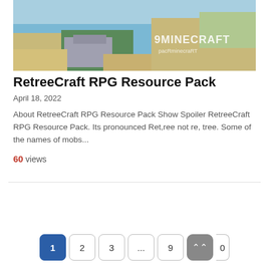[Figure (screenshot): Minecraft aerial view screenshot with 9MINECRAFT watermark overlay]
RetreeCraft RPG Resource Pack
April 18, 2022
About RetreeCraft RPG Resource Pack Show Spoiler RetreeCraft RPG Resource Pack. Its pronounced Ret,ree not re, tree. Some of the names of mobs...
60 views
1 2 3 ... 9 ↑ 10